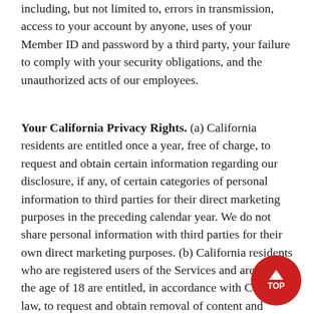including, but not limited to, errors in transmission, access to your account by anyone, uses of your Member ID and password by a third party, your failure to comply with your security obligations, and the unauthorized acts of our employees.
Your California Privacy Rights. (a) California residents are entitled once a year, free of charge, to request and obtain certain information regarding our disclosure, if any, of certain categories of personal information to third parties for their direct marketing purposes in the preceding calendar year. We do not share personal information with third parties for their own direct marketing purposes. (b) California residents who are registered users of the Services and are under the age of 18 are entitled, in accordance with California law, to request and obtain removal of content and information that they themselves post on the Services. You may request such removal by emailing us at